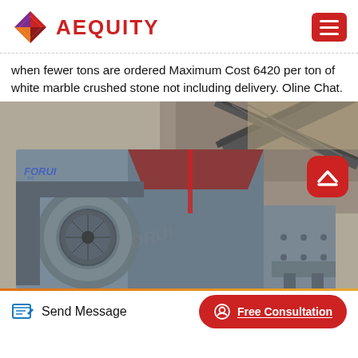AEQUITY
when fewer tons are ordered Maximum Cost 6420 per ton of white marble crushed stone not including delivery. Oline Chat.
[Figure (photo): Industrial stone crushing machine, side view showing a large motor, metal frame, hopper, and conveyor belt in a quarry or industrial setting. Watermark text 'FORUI' visible.]
Send Message | Free Consultation